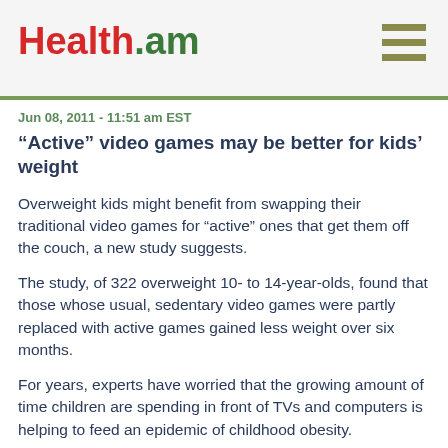Health.am
Jun 08, 2011 - 11:51 am EST
“Active” video games may be better for kids’ weight
Overweight kids might benefit from swapping their traditional video games for “active” ones that get them off the couch, a new study suggests.
The study, of 322 overweight 10- to 14-year-olds, found that those whose usual, sedentary video games were partly replaced with active games gained less weight over six months.
For years, experts have worried that the growing amount of time children are spending in front of TVs and computers is helping to feed an epidemic of childhood obesity.